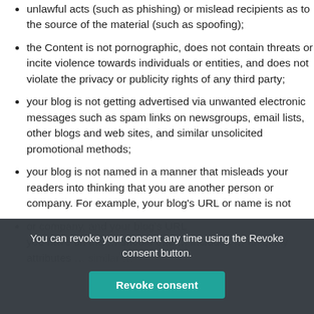unlawful acts (such as phishing) or mislead recipients as to the source of the material (such as spoofing);
the Content is not pornographic, does not contain threats or incite violence towards individuals or entities, and does not violate the privacy or publicity rights of any third party;
your blog is not getting advertised via unwanted electronic messages such as spam links on newsgroups, email lists, other blogs and web sites, and similar unsolicited promotional methods;
your blog is not named in a manner that misleads your readers into thinking that you are another person or company. For example, your blog's URL or name is not
you have on the … should that … includes … uniquely … attributes …
You can revoke your consent any time using the Revoke consent button.